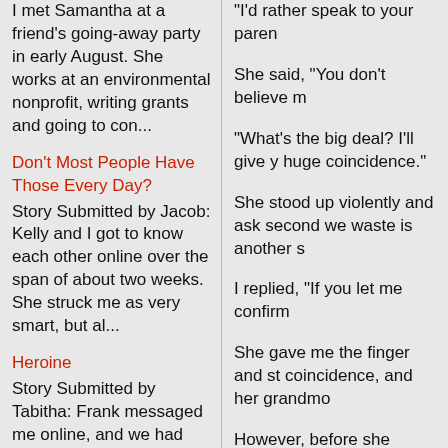I met Samantha at a friend's going-away party in early August. She works at an environmental nonprofit, writing grants and going to con...
Don't Most People Have Those Every Day?
Story Submitted by Jacob: Kelly and I got to know each other online over the span of about two weeks. She struck me as very smart, but al...
Heroine
Story Submitted by Tabitha: Frank messaged me online, and we had enough in common for me to say yes when he asked me out for dinner and dr...
"I'd rather speak to your paren
She said, "You don't believe m
"What's the big deal? I'll give y huge coincidence."
She stood up violently and ash second we waste is another s
I replied, "If you let me confirm
She gave me the finger and st coincidence, and her grandmo
However, before she remembe partying Martha had appeared friends that read, "Great to see me glad for having called her h